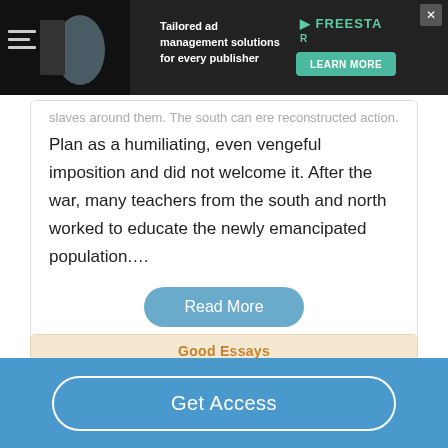[Figure (screenshot): Advertisement banner: dark background with text 'Tailored ad management solutions for every publisher', Freestar logo and 'Learn More' button]
Plan as a humiliating, even vengeful imposition and did not welcome it. After the war, many teachers from the south and north worked to educate the newly emancipated population....
Read More
Good Essays
How Did Lincoln End Slavery
Get Access